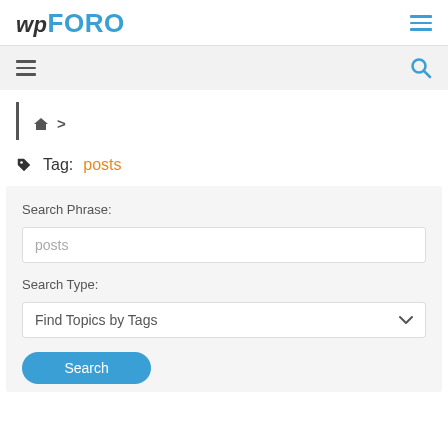wpForo
≡  🔍
🏠 >
🏷 Tag: posts
Search Phrase:
posts
Search Type:
Find Topics by Tags